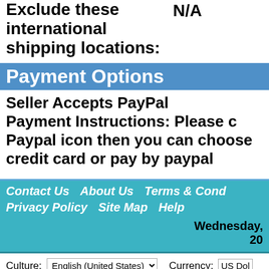Exclude these international shipping locations: N/A
Payment Options
Seller Accepts PayPal
Payment Instructions: Please c Paypal icon then you can choose credit card or pay by paypal
Contact Us   About Us   Terms & Cond Privacy Policy   Site Map   Help   Wednesday, 20
Culture: English (United States)   Currency: US Dol
Copyright 2022 www.yuppy.com. All Rights Rese